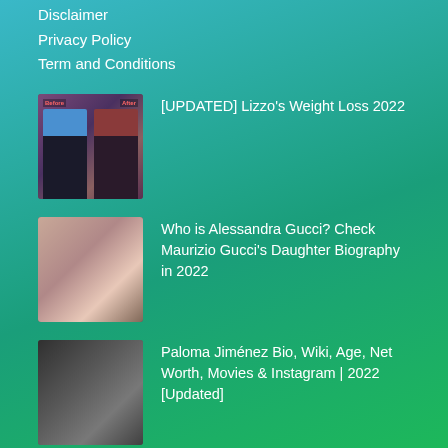Disclaimer
Privacy Policy
Term and Conditions
[Figure (photo): Before and after weight loss photo of Lizzo]
[UPDATED] Lizzo's Weight Loss 2022
[Figure (photo): Photo of Alessandra Gucci]
Who is Alessandra Gucci? Check Maurizio Gucci's Daughter Biography in 2022
[Figure (photo): Black and white photo of Paloma Jiménez]
Paloma Jiménez Bio, Wiki, Age, Net Worth, Movies & Instagram | 2022 [Updated]